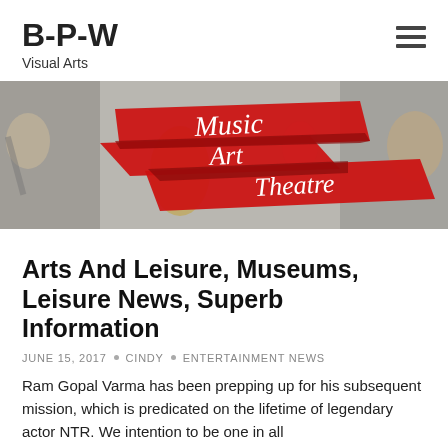B-P-W
Visual Arts
[Figure (illustration): Banner image with faded background photos of musicians and performers. Three overlapping red ribbon/banner shapes contain the handwritten-style text 'Music', 'Art', and 'Theatre' in white script.]
Arts And Leisure, Museums, Leisure News, Superb Information
JUNE 15, 2017  •  CINDY  •  ENTERTAINMENT NEWS
Ram Gopal Varma has been prepping up for his subsequent mission, which is predicated on the lifetime of legendary actor NTR. We intention to be one in all